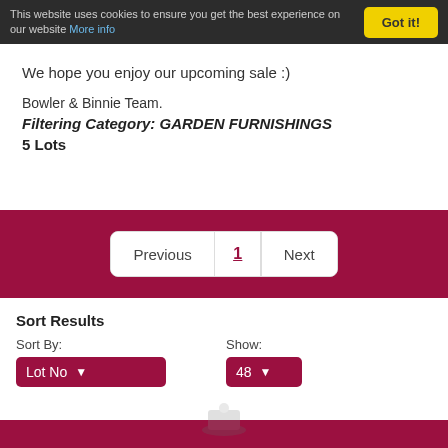This website uses cookies to ensure you get the best experience on our website More info | Got it!
We hope you enjoy our upcoming sale :)
Bowler & Binnie Team.
Filtering Category: GARDEN FURNISHINGS
5 Lots
Previous  1  Next
Sort Results
Sort By: Lot No   Show: 48